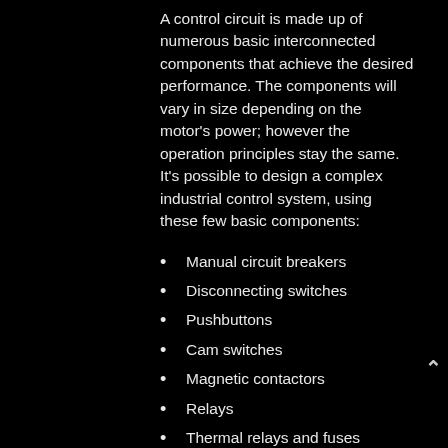A control circuit is made up of numerous basic interconnected components that achieve the desired performance. The components will vary in size depending on the motor's power; however the operation principles stay the same. It's possible to design a complex industrial control system, using these few basic components:
Manual circuit breakers
Disconnecting switches
Pushbuttons
Cam switches
Magnetic contactors
Relays
Thermal relays and fuses
Limit switches and other special switches
Pilot lights
Resistors, transformers, capacitors and reactors